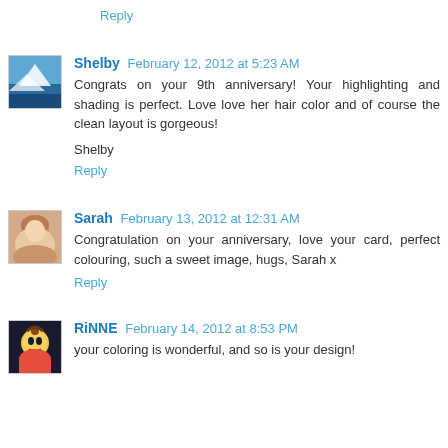Reply
Shelby February 12, 2012 at 5:23 AM
Congrats on your 9th anniversary! Your highlighting and shading is perfect. Love love her hair color and of course the clean layout is gorgeous!
Shelby
Reply
Sarah February 13, 2012 at 12:31 AM
Congratulation on your anniversary, love your card, perfect colouring, such a sweet image, hugs, Sarah x
Reply
RiNNE February 14, 2012 at 8:53 PM
your coloring is wonderful, and so is your design!